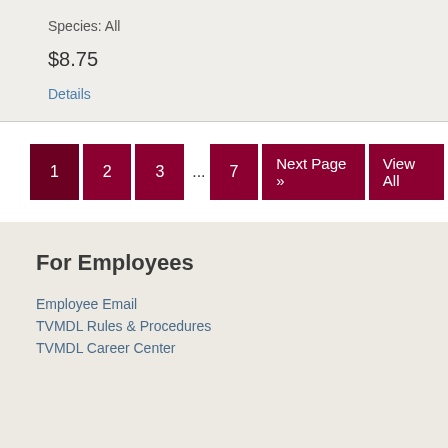Species: All
$8.75
Details
1 2 3 ... 7 Next Page » View All
For Employees
Employee Email
TVMDL Rules & Procedures
TVMDL Career Center